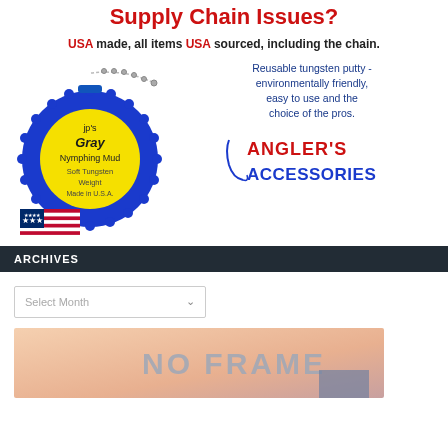Supply Chain Issues?
USA made, all items USA sourced, including the chain.
[Figure (illustration): Product photo of jp's Gray Nymphing Mud Soft Tungsten Weight Made in U.S.A. in a blue circular case with yellow label, with a chain keyring, and a small USA flag below it. Next to it: text 'Reusable tungsten putty - environmentally friendly, easy to use and the choice of the pros.' and Angler's Accessories logo.]
ARCHIVES
[Figure (screenshot): Dropdown select element with placeholder text 'Select Month' and a chevron arrow on the right.]
[Figure (illustration): Partial banner image with 'NO FRAME' text visible in light gray-blue lettering on a warm gradient background.]